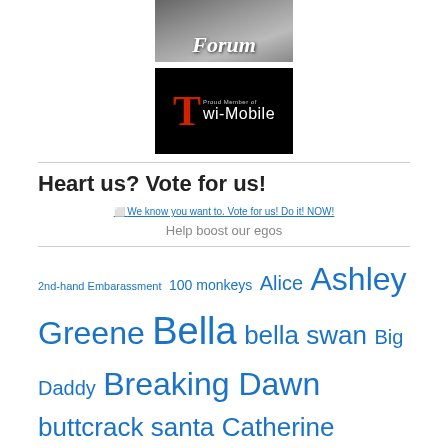[Figure (illustration): Forum banner image with group photo and italic text 'Forum']
[Figure (logo): Twi-Mobile banner: black background with red large T and white text 'Proud Member of Twi-Mobile']
Heart us? Vote for us!
[Figure (illustration): Broken image placeholder with alt text: We know you want to. Vote for us! Do it! NOW!]
Help boost our egos
2nd-hand Embarassment 100 monkeys Alice Ashley Greene Bella bella swan Big Daddy Breaking Dawn buttcrack santa Catherine Hardwicke chris weitz comedy Cullon dakota fanning